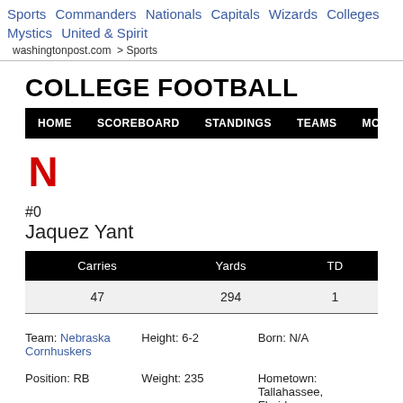Sports  Commanders  Nationals  Capitals  Wizards  Colleges  Mystics  United & Spirit
washingtonpost.com > Sports
COLLEGE FOOTBALL
HOME  SCOREBOARD  STANDINGS  TEAMS  MORE...
[Figure (logo): Nebraska Cornhuskers red N logo]
#0
Jaquez Yant
| Carries | Yards | TD |
| --- | --- | --- |
| 47 | 294 | 1 |
Team: Nebraska Cornhuskers
Position: RB
Height: 6-2
Weight: 235
Born: N/A
Hometown: Tallahassee, Florida